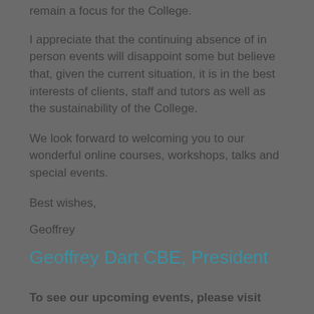remain a focus for the College.
I appreciate that the continuing absence of in person events will disappoint some but believe that, given the current situation, it is in the best interests of clients, staff and tutors as well as the sustainability of the College.
We look forward to welcoming you to our wonderful online courses, workshops, talks and special events.
Best wishes,
Geoffrey
Geoffrey Dart CBE, President
To see our upcoming events, please visit